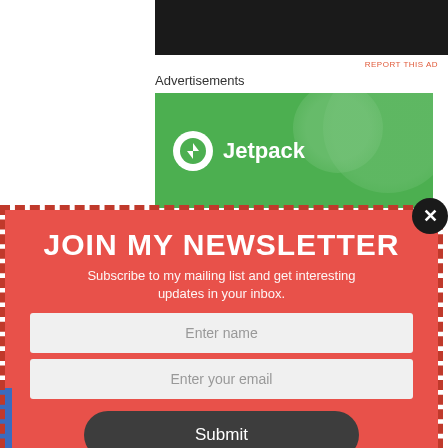REPORT THIS AD
Advertisements
[Figure (logo): Jetpack logo on green background banner]
JOIN MY NEWSLETTER
Subscribe to my mailing list and get interesting updates in your inbox.
Enter name
Enter your email
Submit